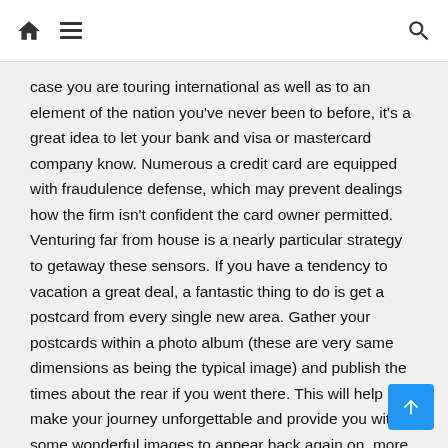Home | Menu | Search
case you are touring international as well as to an element of the nation you've never been to before, it's a great idea to let your bank and visa or mastercard company know. Numerous a credit card are equipped with fraudulence defense, which may prevent dealings how the firm isn't confident the card owner permitted. Venturing far from house is a nearly particular strategy to getaway these sensors. If you have a tendency to vacation a great deal, a fantastic thing to do is get a postcard from every single new area. Gather your postcards within a photo album (these are very same dimensions as being the typical image) and publish the times about the rear if you went there. This will help make your journey unforgettable and provide you with some wonderful images to appear back again on. more you plan, the cheaper the air travel needs to be